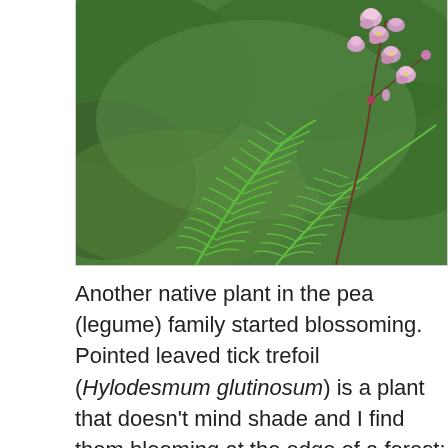[Figure (photo): Close-up photograph of Hylodesmum glutinosum (Pointed leaved tick trefoil) showing pink-purple pea-like flowers on a slender stem with green ferns and large leaves in the background.]
Another native plant in the pea (legume) family started blossoming. Pointed leaved tick trefoil (Hylodesmum glutinosum) is a plant that doesn't mind shade and I find them blooming at the edge of a forest; the only spot I've ever seen them. The flower spike can reach over three feet tall but often lays onto surrounding ferns and other plants. It rises...